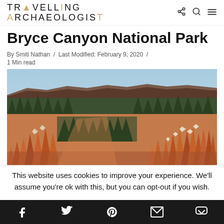TRAVELLING ARCHAEOLOGIST
Bryce Canyon National Park
By Smiti Nathan / Last Modified: February 9, 2020 /
1 Min read
[Figure (photo): Aerial/panoramic view of Bryce Canyon National Park showing orange-red hoodoo rock formations and green forest across a broad canyon landscape under a blue sky.]
This website uses cookies to improve your experience. We'll assume you're ok with this, but you can opt-out if you wish.
Social sharing bar with Facebook, Twitter, Pinterest, Email, and Pocket icons